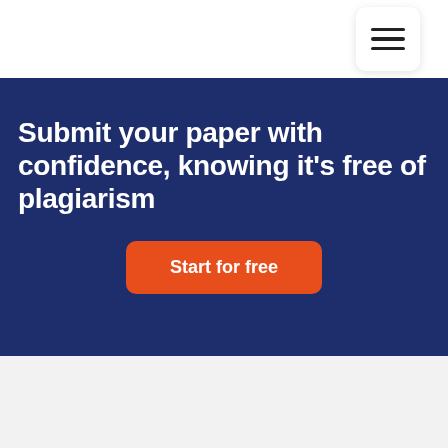[Figure (other): Hamburger menu icon button with three horizontal lines on white card with shadow, positioned top right]
Submit your paper with confidence, knowing it's free of plagiarism
Start for free